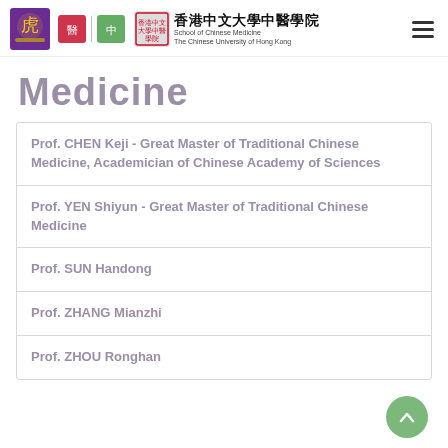香港中文大學中醫學院 School of Chinese Medicine The Chinese University of Hong Kong
Medicine
Prof. CHEN Keji - Great Master of Traditional Chinese Medicine, Academician of Chinese Academy of Sciences
Prof. YEN Shiyun - Great Master of Traditional Chinese Medicine
Prof. SUN Handong
Prof. ZHANG Mianzhi
Prof. ZHOU Ronghan